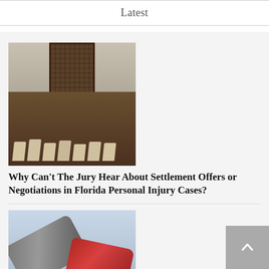Latest
[Figure (photo): Interior of a courtroom showing wooden gate/barrier and rows of chairs]
Why Can't The Jury Hear About Settlement Offers or Negotiations in Florida Personal Injury Cases?
[Figure (photo): Two cars involved in a collision accident on the road]
What Happens if the Motorist that Injured You Was Killed in the Collision?
[Figure (photo): Highway/interstate road sign]